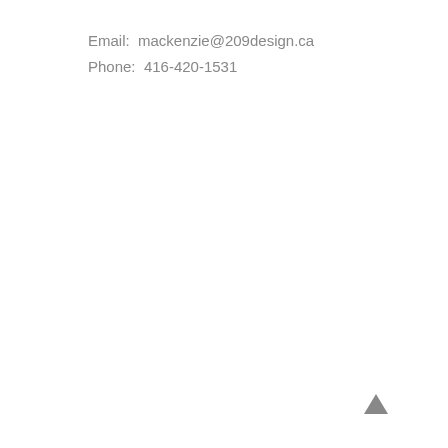Email:  mackenzie@209design.ca
Phone:  416-420-1531
[Figure (other): Small grey upward-pointing triangle arrow icon in lower right area of page]